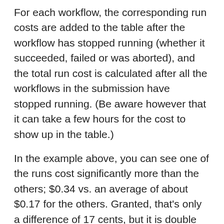For each workflow, the corresponding run costs are added to the table after the workflow has stopped running (whether it succeeded, failed or was aborted), and the total run cost is calculated after all the workflows in the submission have stopped running. (Be aware however that it can take a few hours for the cost to show up in the table.)
In the example above, you can see one of the runs cost significantly more than the others; $0.34 vs. an average of about $0.17 for the others. Granted, that's only a difference of 17 cents, but it is double the cost of the others, which for a full-size dataset could make a more meaningful difference, so it's worth digging into a little.
To understand why a particular run cost more, you can open up the workflow run details in a new page called "Job Manager" (click the symbol that looks like a little checklist in the right hand column). On the